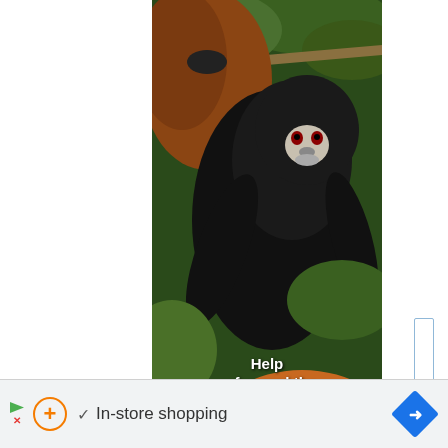[Figure (photo): Vertical banner photo of black-furred tamarins (small monkeys) clinging to branches and tree trunks in a forest setting with green leaves and orange/yellow foliage. Multiple monkeys visible including a large one at top and two smaller ones below. Bold white text overlay reads: Help safeguard the forest homes]
Help safeguard the forest homes
[Figure (screenshot): Browser bottom bar showing ad icon (play/x), orange circle-plus icon, checkmark symbol, 'In-store shopping' text, and blue diamond navigation arrow on right.]
In-store shopping